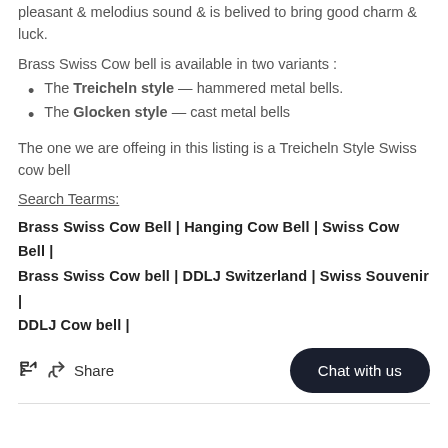pleasant & melodius sound & is belived to bring good charm & luck.
Brass Swiss Cow bell is available in two variants :
The Treicheln style — hammered metal bells.
The Glocken style — cast metal bells
The one we are offeing in this listing is a Treicheln Style Swiss cow bell
Search Tearms:
Brass Swiss Cow Bell | Hanging Cow Bell | Swiss Cow Bell | Brass Swiss Cow bell | DDLJ Switzerland | Swiss Souvenir | DDLJ Cow bell |
Share
Chat with us